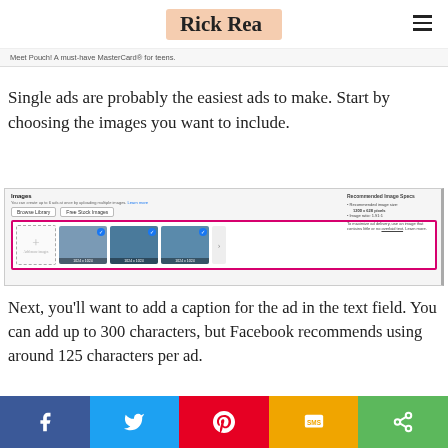Rick Rea
Meet Pouch! A must-have MasterCard® for teens.
Single ads are probably the easiest ads to make. Start by choosing the images you want to include.
[Figure (screenshot): Facebook Ads image upload interface with Browse Library and Free Stock Images buttons, showing a pink/magenta bordered image selection row with one empty placeholder and three selected dark photo thumbnails labeled 1024 x 1024, and a recommended image specs panel on the right.]
Next, you'll want to add a caption for the ad in the text field. You can add up to 300 characters, but Facebook recommends using around 125 characters per ad.